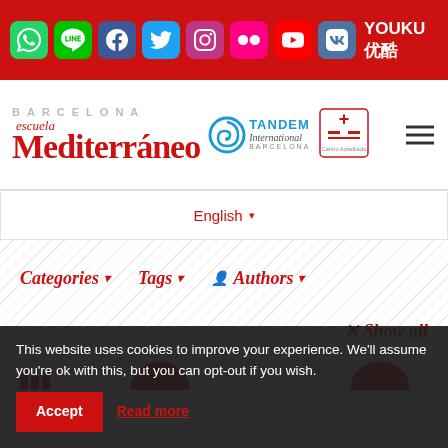[Figure (screenshot): Red top navigation bar with social media icons: WhatsApp, Line, Facebook, Twitter, Instagram, Flickr, YouTube, VK, and YOUKU 优酷 logo]
[Figure (logo): Barcelona Escuela Mediterráneo logo with Tandem International Barcelona and Centro Acreditado partner logos, and hamburger menu icon]
English ▾
Categories ▾   Tags ▾   👤 Authors ▾
✕ Show all
This website uses cookies to improve your experience. We'll assume you're ok with this, but you can opt-out if you wish.
Accept
Read more